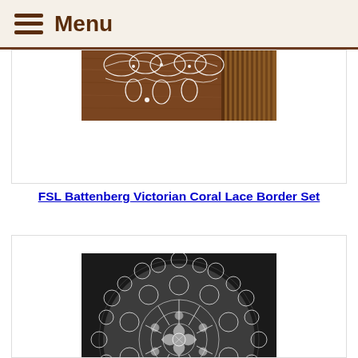Menu
[Figure (photo): Photo of white lace border pieces on a wooden surface with comb visible]
FSL Battenberg Victorian Coral Lace Border Set
[Figure (photo): Circular white lace doily with intricate floral Battenberg pattern on dark background]